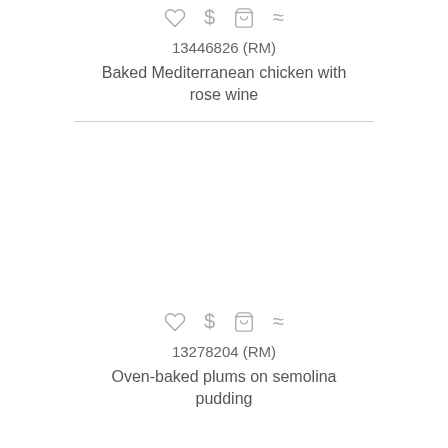[Figure (other): Row of icons: heart, dollar sign, shopping cart, approximately-equal symbol]
13446826 (RM)
Baked Mediterranean chicken with rose wine
[Figure (other): Row of icons: heart, dollar sign, shopping cart, approximately-equal symbol]
13278204 (RM)
Oven-baked plums on semolina pudding